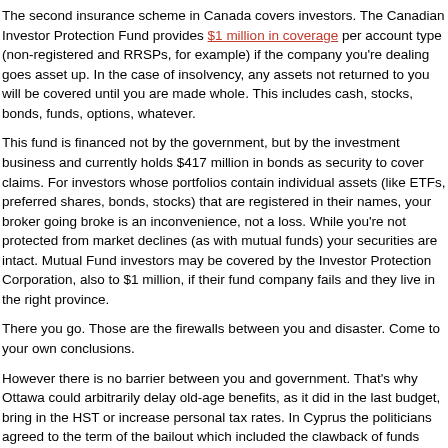The second insurance scheme in Canada covers investors. The Canadian Investor Protection Fund provides $1 million in coverage per account type (non-registered and RRSPs, for example) if the company you're dealing goes asset up. In the case of insolvency, any assets not returned to you will be covered until you are made whole. This includes cash, stocks, bonds, funds, options, whatever.
This fund is financed not by the government, but by the investment business and currently holds $417 million in bonds as security to cover claims. For investors whose portfolios contain individual assets (like ETFs, preferred shares, bonds, stocks) that are registered in their names, your broker going broke is an inconvenience, not a loss. While you're not protected from market declines (as with mutual funds) your securities are intact. Mutual Fund investors may be covered by the Investor Protection Corporation, also to $1 million, if their fund company fails and they live in the right province.
There you go. Those are the firewalls between you and disaster. Come to your own conclusions.
However there is no barrier between you and government. That's why Ottawa could arbitrarily delay old-age benefits, as it did in the last budget, bring in the HST or increase personal tax rates. In Cyprus the politicians agreed to the terms of the bailout which included the clawback of funds from accounts that kicked in above a threshold amount.